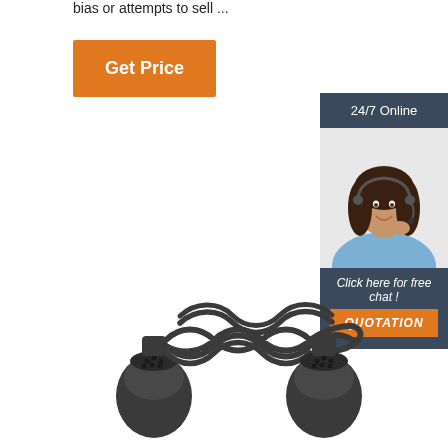bias or attempts to sell ...
[Figure (other): Orange 'Get Price' button]
[Figure (other): Sidebar with '24/7 Online' header, photo of woman with headset, 'Click here for free chat!' text, and orange QUOTATION button]
[Figure (photo): Product photo of a coiled black cable with two multi-pin connectors on each end]